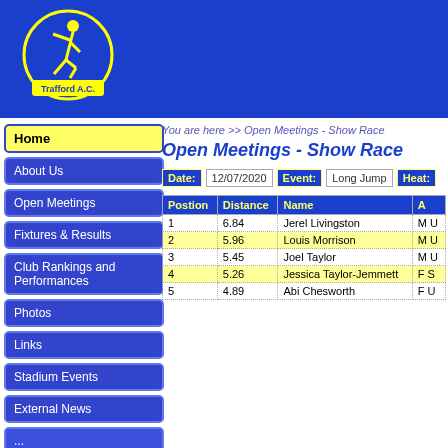[Figure (logo): Trafford A.C. club logo: yellow stick figure running inside a yellow circle with 'Trafford A.C.' text, on blue background]
Home
About Us
Open Meetings
Fixtures & Results
Club Rankings and Performances
Photos
Links
Stadium Events
External News
You are here >> Open Meetings - Show Race
Open Meetings - Show Race
Date: 12/07/2020   Event: Long Jump   Heat:
| Postion | Distance | Name | A |
| --- | --- | --- | --- |
| 1 | 6.84 | Jerel Livingston | M U |
| 2 | 5.96 | Louis Morrison | M U |
| 3 | 5.45 | Joel Taylor | M U |
| 4 | 5.26 | Jessica Taylor-Jemmett | F S |
| 5 | 4.89 | Abi Chesworth | F U |